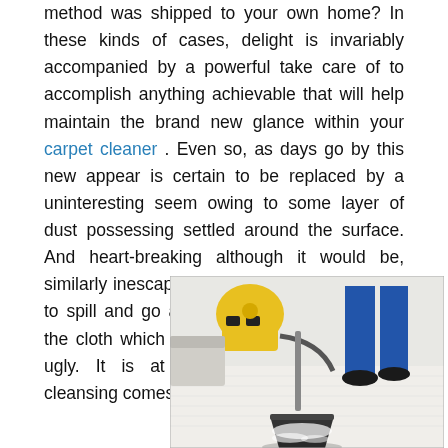method was shipped to your own home? In these kinds of cases, delight is invariably accompanied by a powerful take care of to accomplish anything achievable that will help maintain the brand new glance within your carpet cleaner . Even so, as days go by this new appear is certain to be replaced by a uninteresting seem owing to some layer of dust possessing settled around the surface. And heart-breaking although it would be, similarly inescapable it is for a little something to spill and go away a darkish patch around the cloth which is sure to seem hideous and ugly. It is at this point that upholstery cleansing comes into perform.
[Figure (photo): A carpet cleaning vacuum tool being used on a white carpet, with a yellow vacuum machine and a person in blue pants and black shoes visible in the background.]